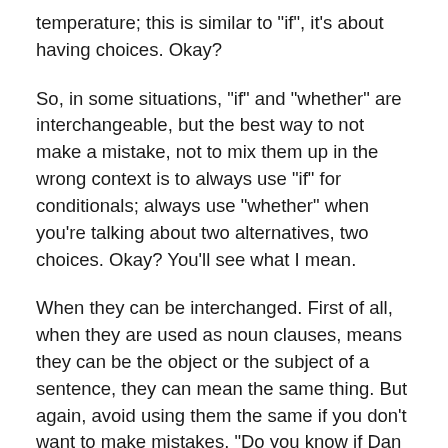temperature; this is similar to "if", it's about having choices. Okay?
So, in some situations, "if" and "whether" are interchangeable, but the best way to not make a mistake, not to mix them up in the wrong context is to always use "if" for conditionals; always use "whether" when you're talking about two alternatives, two choices. Okay? You'll see what I mean.
When they can be interchanged. First of all, when they are used as noun clauses, means they can be the object or the subject of a sentence, they can mean the same thing. But again, avoid using them the same if you don't want to make mistakes. "Do you know if Dan is coming?" Do you know what? If Dan is coming. "Do you know whether Dan is coming?" In this case, they basically mean the same thing. Yes or no: is he coming or is he not coming? You could add the "or